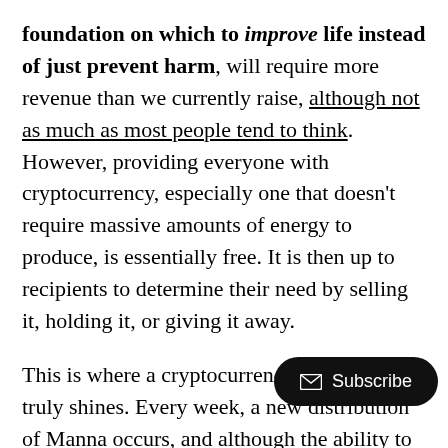foundation on which to improve life instead of just prevent harm, will require more revenue than we currently raise, although not as much as most people tend to think. However, providing everyone with cryptocurrency, especially one that doesn't require massive amounts of energy to produce, is essentially free. It is then up to recipients to determine their need by selling it, holding it, or giving it away.
This is where a cryptocurrency like Manna truly shines. Every week, a new distribution of Manna occurs, and although the ability to send and receive hasn't yet been activated at the time of writing, it will be soon, and at that point users can begin selling their Manna for their currency of